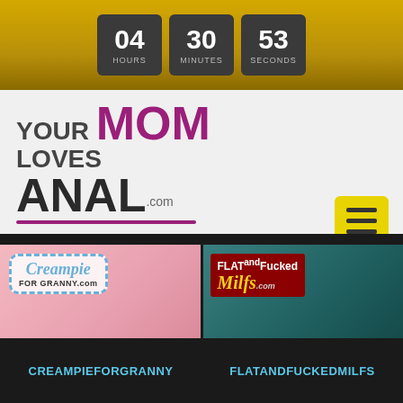04 HOURS 30 MINUTES 53 SECONDS
[Figure (logo): YourMomLovesAnal.com website logo with purple MOM text and dark ANAL text]
[Figure (photo): Thumbnail for CreampieForGranny.com adult website]
[Figure (photo): Thumbnail for FlatAndFuckedMilfs.com adult website]
CREAMPIEFORGRANNY
FLATANDFUCKEDMILFS